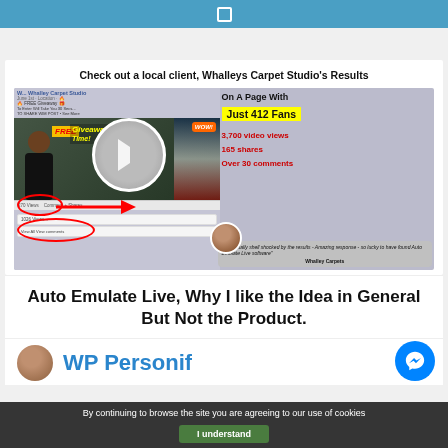[Figure (screenshot): Blue header bar at top of webpage]
[Figure (screenshot): Screenshot showing Whalleys Carpet Studio's Facebook results: On A Page With Just 412 Fans, 3,700 video views, 165 shares, Over 30 comments. Quote from Whalley Carpets: Was totally shell shocked by the results - Amazing response - so lucky to have found Auto Emulate Live software]
Check out a local client, Whalleys Carpet Studio's Results
Auto Emulate Live, Why I like the Idea in General But Not the Product.
[Figure (logo): WP Personif... logo with avatar and blue messenger button]
By continuing to browse the site you are agreeing to our use of cookies
I understand